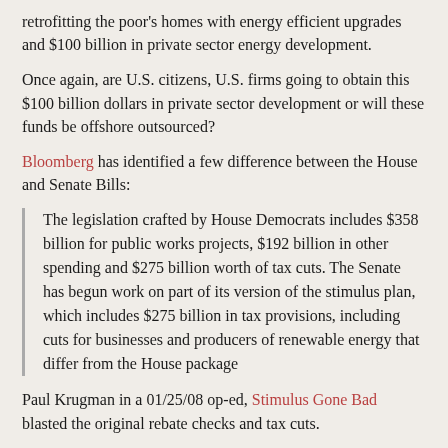retrofitting the poor's homes with energy efficient upgrades and $100 billion in private sector energy development.
Once again, are U.S. citizens, U.S. firms going to obtain this $100 billion dollars in private sector development or will these funds be offshore outsourced?
Bloomberg has identified a few difference between the House and Senate Bills:
The legislation crafted by House Democrats includes $358 billion for public works projects, $192 billion in other spending and $275 billion worth of tax cuts. The Senate has begun work on part of its version of the stimulus plan, which includes $275 billion in tax provisions, including cuts for businesses and producers of renewable energy that differ from the House package
Paul Krugman in a 01/25/08 op-ed, Stimulus Gone Bad blasted the original rebate checks and tax cuts.